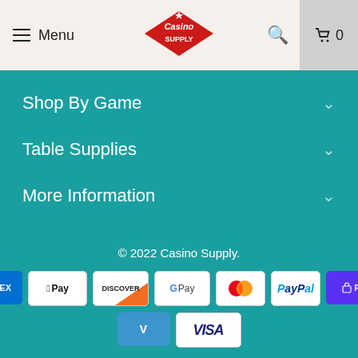Menu | Casino Supply | Search | Cart 0
Shop By Game
Table Supplies
More Information
© 2022 Casino Supply.
[Figure (logo): Payment method icons: AMEX, Apple Pay, Discover, Google Pay, Mastercard, PayPal, Shop Pay, Venmo, Visa]